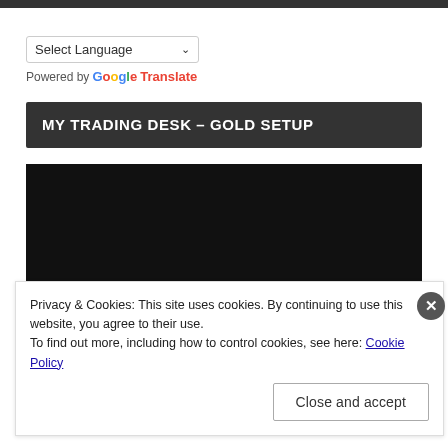Select Language
Powered by Google Translate
MY TRADING DESK – GOLD SETUP
[Figure (screenshot): Dark/black video embed placeholder area]
Privacy & Cookies: This site uses cookies. By continuing to use this website, you agree to their use.
To find out more, including how to control cookies, see here: Cookie Policy
Close and accept